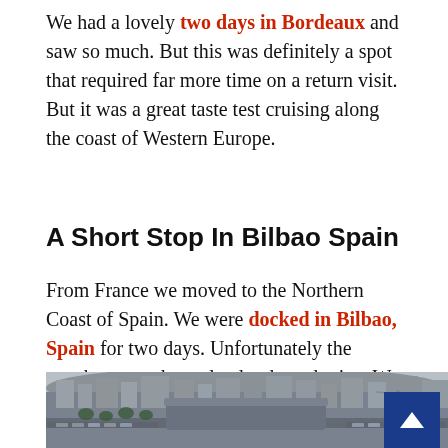We had a lovely two days in Bordeaux and saw so much. But this was definitely a spot that required far more time on a return visit. But it was a great taste test cruising along the coast of Western Europe.
A Short Stop In Bilbao Spain
From France we moved to the Northern Coast of Spain. We were docked in Bilbao, Spain for two days. Unfortunately the weather stayed mostly cloudy and rainy. We were glad we did not book any excursions. But when the weather cleared, we headed into town and explored.
[Figure (photo): Aerial/elevated view of Bilbao port/harbor area showing a modern terminal building, waterfront road, parked vehicles, and city buildings in the background under overcast/cloudy sky.]